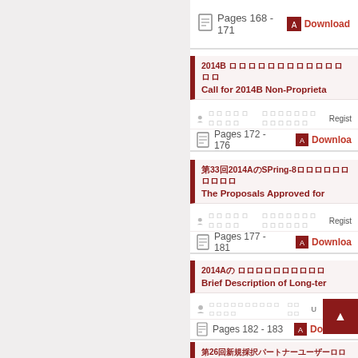Pages 168 - 171   Download
2014B 非専有利用提案募集
Call for 2014B Non-Proprieta...
登録者名   所属機関名   Regist...
Pages 172 - 176   Download
第33回2014AのSPring-8における採択課題
The Proposals Approved for...
登録者名   所属機関名   Regist...
Pages 177 - 181   Download
2014Aの長期利用課題概要
Brief Description of Long-ter...
所属機関名   分野   U...
Pages 182 - 183   Download
第26回新規採択パートナーユーザー
Newly Designated Partner U...
所属機関名   分野   User Admi...